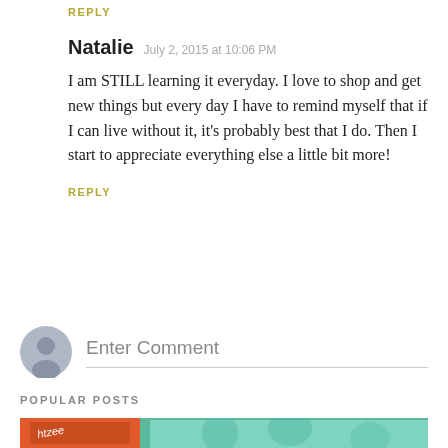REPLY
Natalie   July 2, 2015 at 10:06 PM
I am STILL learning it everyday. I love to shop and get new things but every day I have to remind myself that if I can live without it, it's probably best that I do. Then I start to appreciate everything else a little bit more!
REPLY
Enter Comment
POPULAR POSTS
[Figure (photo): Board games including Yahtzee box on a tropical leaf patterned background]